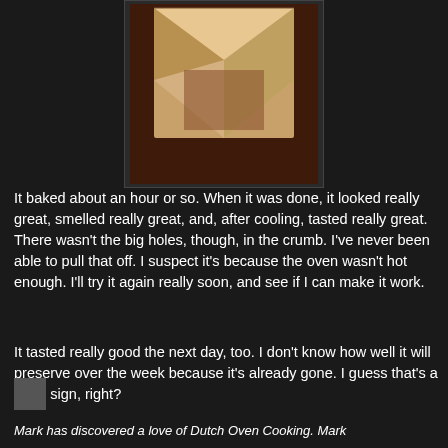[Figure (photo): Photograph of sliced bread loaf on a dark surface, showing the crumb interior, partially cut]
It baked about an hour or so.  When it was done, it looked really great, smelled really great, and, after cooling, tasted really great.  There wasn't the big holes, though, in the crumb.  I've never been able to pull that off.  I suspect it's because the oven wasn't hot enough.  I'll try it again really soon, and see if I can make it work.
It tasted really good the next day, too.  I don't know how well it will preserve over the week because it's already gone.  I guess that's a good sign, right?
[Figure (photo): Small thumbnail image, dark/grey square]
Mark has discovered a love of Dutch Oven Cooking. Mark